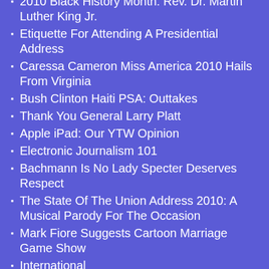2010 Black History Month: Rev. Dr. Martin Luther King Jr.
Etiquette For Attending A Presidential Address
Caressa Cameron Miss America 2010 Hails From Virginia
Bush Clinton Haiti PSA: Outtakes
Thank You General Larry Platt
Apple iPad: Our YTW Opinion
Electronic Journalism 101
Bachmann Is No Lady Specter Deserves Respect
The State Of The Union Address 2010: A Musical Parody For The Occasion
Mark Fiore Suggests Cartoon Marriage Game Show
International